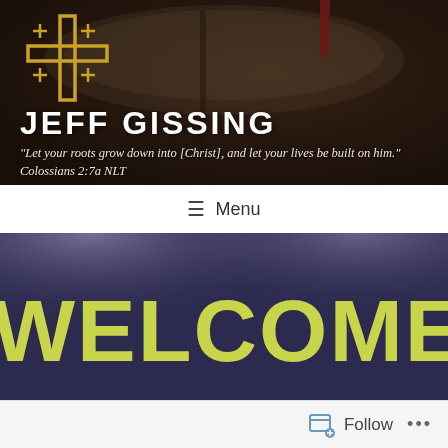[Figure (photo): Website header showing an open Bible book with dark overlay, featuring a Jerusalem cross logo in gold, site title 'JEFF GISSING', and tagline quote from Colossians 2:7a NLT]
JEFF GISSING
"Let your roots grow down into [Christ], and let your lives be built on him." Colossians 2:7a NLT
≡ Menu
[Figure (photo): Photo of a purple/dark blue wall with spotlights, showing large yellow-green text reading 'WELCOME TO WIC' (text continues off screen to the right)]
Follow   •••